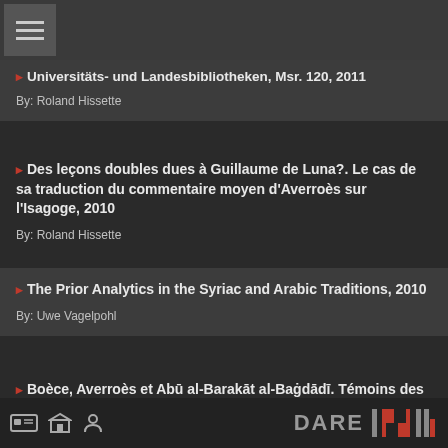navigation header with hamburger menu
Universitäts- und Landesbibliotheken, Msr. 120, 2011 By: Roland Hissette
Des leçons doubles dues à Guillaume de Luna?. Le cas de sa traduction du commentaire moyen d'Averroès sur l'Isagoge, 2010 By: Roland Hissette
The Prior Analytics in the Syriac and Arabic Traditions, 2010 By: Uwe Vagelpohl
Boèce, Averroès et Abū al-Barakāt al-Baġdādī. Témoins des écrits de Thémistius sur les Topiques d'Aristote, 2007
DARE logo and navigation icons